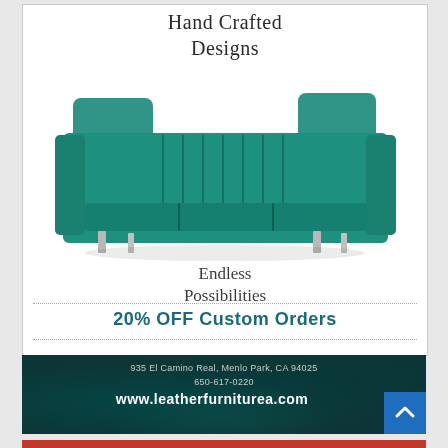[Figure (illustration): Furniture store advertisement. White background area with cursive 'Hand Crafted Designs' heading, a teal/turquoise modern three-seat sofa with channel-tufted back and metal legs, cursive 'Endless Possibilities' subheading, dotted separator lines, bold teal '20% OFF Custom Orders' promotional text. Below that, a dark teal banner with contact info: 935 El Camino Real, Menlo Park, CA 94025, 650-617-0220, www.leatherfurniturea.com. A blue scroll-up arrow button in bottom right.]
Hand Crafted Designs
Endless Possibilities
20% OFF Custom Orders
935 El Camino Real, Menlo Park, CA 94025
650-617-0220
www.leatherfurniturea.com